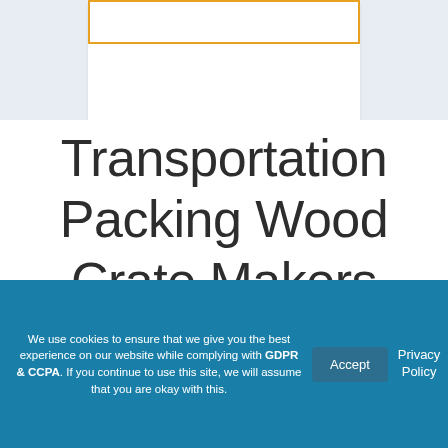[Figure (screenshot): White card with orange/yellow border on light blue-gray background, partial view of a form or UI element at the top of the page]
Transportation Packing Wood Crate Makers
We use cookies to ensure that we give you the best experience on our website while complying with GDPR & CCPA. If you continue to use this site, we will assume that you are okay with this.
Accept
Privacy Policy